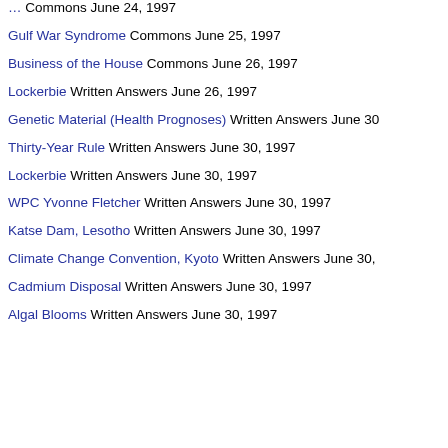Gulf War Syndrome Commons June 25, 1997
Business of the House Commons June 26, 1997
Lockerbie Written Answers June 26, 1997
Genetic Material (Health Prognoses) Written Answers June 30
Thirty-Year Rule Written Answers June 30, 1997
Lockerbie Written Answers June 30, 1997
WPC Yvonne Fletcher Written Answers June 30, 1997
Katse Dam, Lesotho Written Answers June 30, 1997
Climate Change Convention, Kyoto Written Answers June 30,
Cadmium Disposal Written Answers June 30, 1997
Algal Blooms Written Answers June 30, 1997